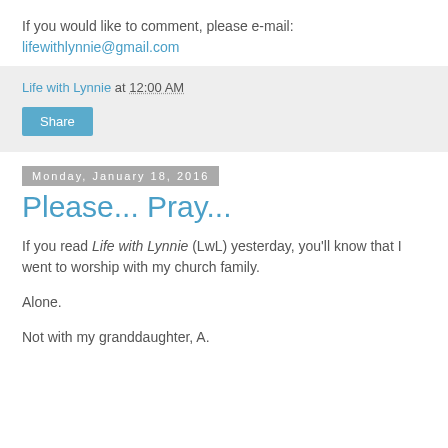If you would like to comment, please e-mail:
lifewithlynnie@gmail.com
Life with Lynnie at 12:00 AM
Share
Monday, January 18, 2016
Please... Pray...
If you read Life with Lynnie (LwL) yesterday, you'll know that I went to worship with my church family.
Alone.
Not with my granddaughter, A.